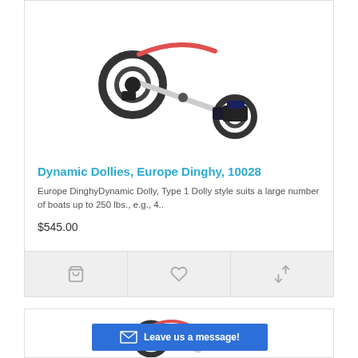[Figure (photo): A dynamic dolly/trolley for Europe Dinghy boat with two large pneumatic wheels, aluminum frame, red strap, and adjustable fittings]
Dynamic Dollies, Europe Dinghy, 10028
Europe DinghyDynamic Dolly, Type 1 Dolly style suits a large number of boats up to 250 lbs., e.g., 4..
$545.00
[Figure (photo): Partial view of a second dynamic dolly product card at the bottom of the page]
Leave us a message!